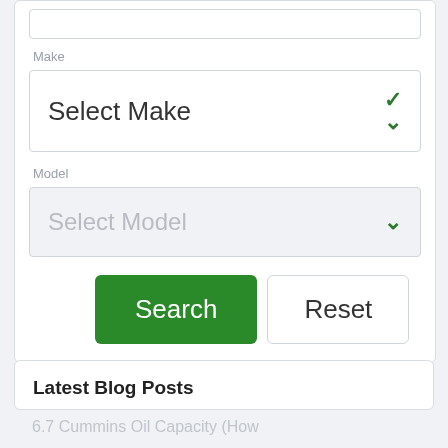Make
[Figure (screenshot): Dropdown selector labeled 'Select Make' with a green chevron arrow on the right]
Model
[Figure (screenshot): Disabled dropdown selector labeled 'Select Model' with a green chevron arrow on the right, grey background]
Search
Reset
Latest Blog Posts
6.7 Cummins Oil Capacity (How